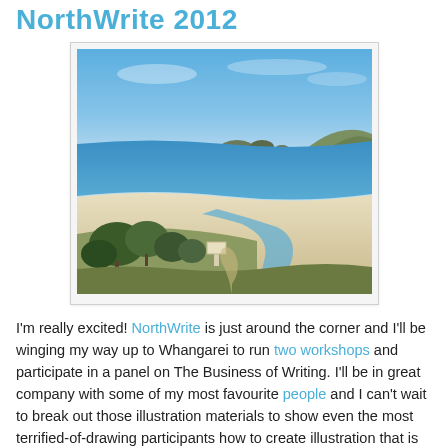NorthWrite 2012
[Figure (photo): Aerial/elevated view of a New Zealand beach with white sand, turquoise ocean water, rocky islands in the distance, green shrubs and trees in the foreground, and a meandering stream or lagoon on the beach.]
I'm really excited! NorthWrite is just around the corner and I'll be winging my way up to Whangarei to run two workshops and participate in a panel on The Business of Writing. I'll be in great company with some of my most favourite people and I can't wait to break out those illustration materials to show even the most terrified-of-drawing participants how to create illustration that is really fun, cool and usable. It's an unusual workshop mix that I'll be showing you in a non digital way